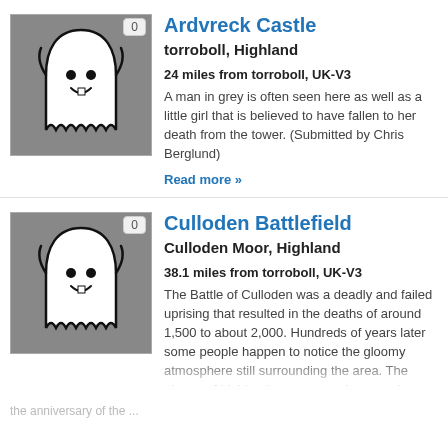[Figure (illustration): Ghost cartoon icon on grey square background with badge showing 0]
Ardvreck Castle
torroboll, Highland
24 miles from torroboll, UK-V3
A man in grey is often seen here as well as a little girl that is believed to have fallen to her death from the tower. (Submitted by Chris Berglund)
Read more »
[Figure (illustration): Ghost cartoon icon on grey square background with badge showing 0]
Culloden Battlefield
Culloden Moor, Highland
38.1 miles from torroboll, UK-V3
The Battle of Culloden was a deadly and failed uprising that resulted in the deaths of around 1,500 to about 2,000. Hundreds of years later some people happen to notice the gloomy atmosphere still surrounding the area. The ghosts of highlanders are seen here, and, as the anniversary of the ...